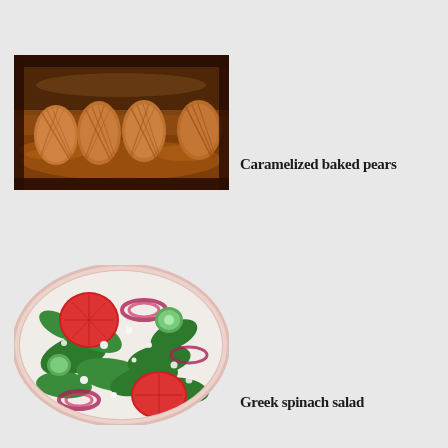[Figure (photo): Caramelized baked pears in a baking dish, halved pears with golden-brown caramelized surface in syrup]
Caramelized baked pears
[Figure (photo): Greek spinach salad in a white bowl with tomatoes, red onions, cucumber, spinach leaves, and crumbled white cheese]
Greek spinach salad